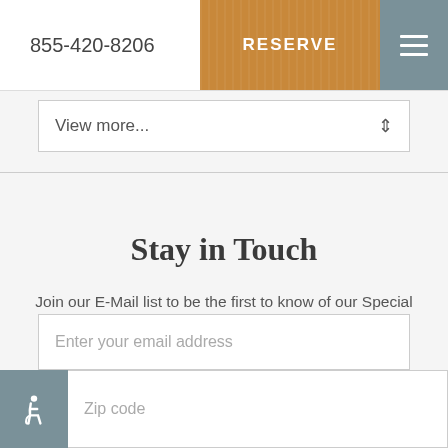855-420-8206  RESERVE
View more...
Stay in Touch
Join our E-Mail list to be the first to know of our Special Offers, Signature Experiences & Events!
Enter your email address
Zip code